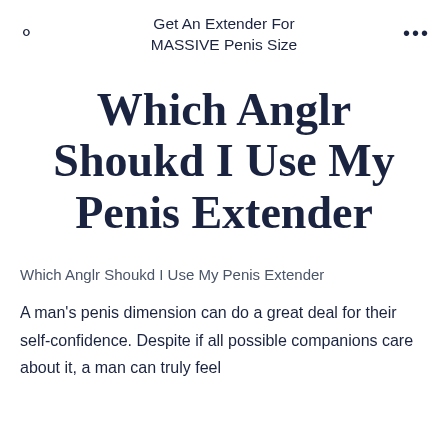Get An Extender For MASSIVE Penis Size
Which Anglr Shoukd I Use My Penis Extender
Which Anglr Shoukd I Use My Penis Extender
A man's penis dimension can do a great deal for their self-confidence. Despite if all possible companions care about it, a man can truly feel